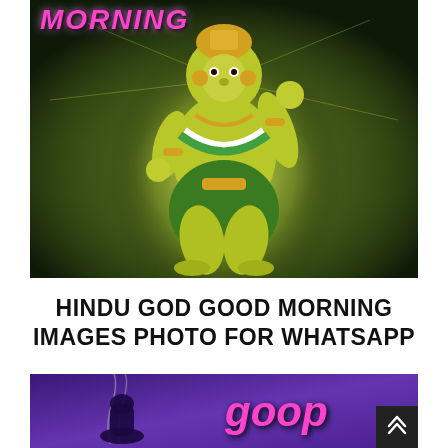[Figure (illustration): Illustration of Hindu deity Hanuman seated in a glowing green/golden aura with the text 'MORNING' in pink at the top, set against a dark forest/waterfall background]
HINDU GOD GOOD MORNING IMAGES PHOTO FOR WHATSAPP
[Figure (photo): Bottom portion of a purple-background Hindu good morning image with 'Good' written in pink stylized text and dark silhouettes of a Shiva lingam with incense smoke]